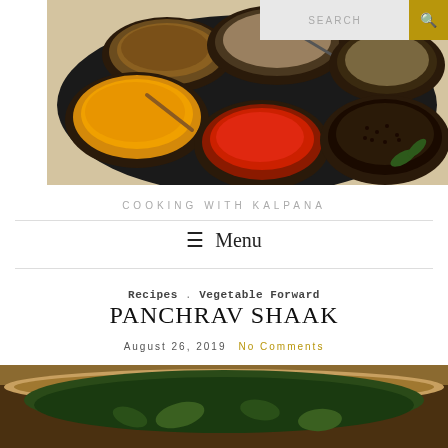[Figure (photo): A round spice tray (masala dabba) with multiple small bowls filled with colorful ground spices including turmeric, red chili powder, cumin seeds, mustard seeds, and other whole spices, on a marble countertop. A search bar with gold search button overlays the top right.]
COOKING WITH KALPANA
≡ Menu
Recipes . Vegetable Forward
PANCHRAV SHAAK
August 26, 2019  No Comments
[Figure (photo): A bowl containing a dark green vegetable dish (Indian vegetable curry/shaak), partially visible at the bottom of the page.]